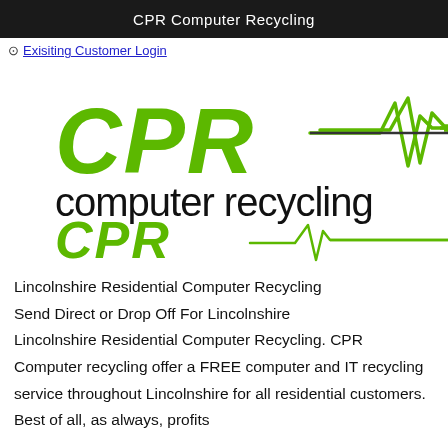CPR Computer Recycling
⊙ Exisiting Customer Login
[Figure (logo): CPR Computer Recycling logo with green italic CPR letters and an EKG/heartbeat line, with 'computer recycling' in black below. A smaller version of the CPR+heartbeat logo appears beneath.]
Lincolnshire Residential Computer Recycling
Send Direct or Drop Off For Lincolnshire
Lincolnshire Residential Computer Recycling. CPR Computer recycling offer a FREE computer and IT recycling service throughout Lincolnshire for all residential customers. Best of all, as always, profits